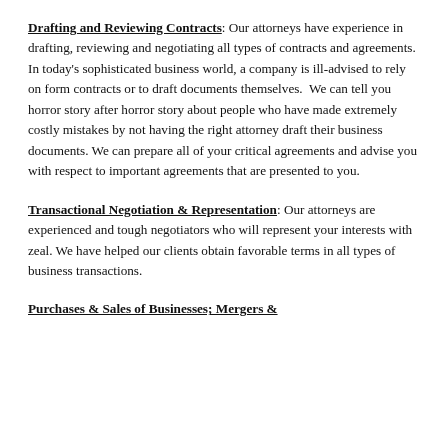Drafting and Reviewing Contracts: Our attorneys have experience in drafting, reviewing and negotiating all types of contracts and agreements. In today's sophisticated business world, a company is ill-advised to rely on form contracts or to draft documents themselves. We can tell you horror story after horror story about people who have made extremely costly mistakes by not having the right attorney draft their business documents. We can prepare all of your critical agreements and advise you with respect to important agreements that are presented to you.
Transactional Negotiation & Representation: Our attorneys are experienced and tough negotiators who will represent your interests with zeal. We have helped our clients obtain favorable terms in all types of business transactions.
Purchases & Sales of Businesses; Mergers &